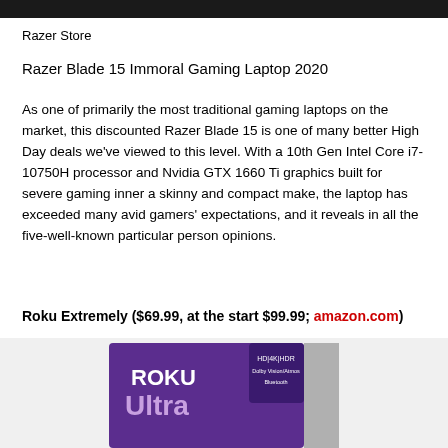[Figure (photo): Dark/black bar at the top of the page, likely the bottom of a laptop image cropped from above]
Razer Store
Razer Blade 15 Immoral Gaming Laptop 2020
As one of primarily the most traditional gaming laptops on the market, this discounted Razer Blade 15 is one of many better High Day deals we've viewed to this level. With a 10th Gen Intel Core i7-10750H processor and Nvidia GTX 1660 Ti graphics built for severe gaming inner a skinny and compact make, the laptop has exceeded many avid gamers' expectations, and it reveals in all the five-well-known particular person opinions.
Roku Extremely ($69.99, at the start $99.99; amazon.com)
[Figure (photo): Roku Ultra product box with purple packaging, showing HD/4K/HDR labels and Roku Ultra branding]